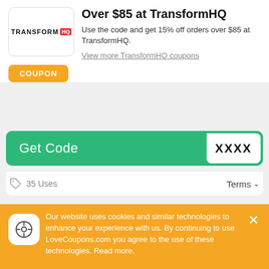[Figure (logo): TransformHQ logo with red HQ badge]
Over $85 at TransformHQ
Use the code and get 15% off orders over $85 at TransformHQ.
View more TransformHQ coupons
COUPON
Get Code XXXX
35 Uses
Terms
[Figure (logo): allbeauty logo - teal/cyan square with white text]
All Inclusive Pricing No hidden charges at allbeauty
Our website uses cookies and similar technologies to enhance your experience with us. By continuing to use LoveCoupons.com you agree to the use of these technologies. Read more.